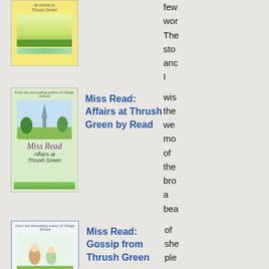[Figure (illustration): Book cover: Miss Read - At Home in Thrush Green, yellow background with village scene]
few
wor
The
sto
anc
I
wis
the
we
mo
of
the
bro
a
bea
of
she
ple
to
my
fac
Spr
on,
[Figure (illustration): Book cover: Miss Read - Affairs at Thrush Green, green background with village illustration]
Miss Read: Affairs at Thrush Green by Read
[Figure (illustration): Book cover: Miss Read - Gossip from Thrush Green, white background with blue border, children scene]
Miss Read: Gossip from Thrush Green
[Figure (illustration): Book cover: Miss Read - Return to ..., yellow background with village scene]
Miss Read: Return to